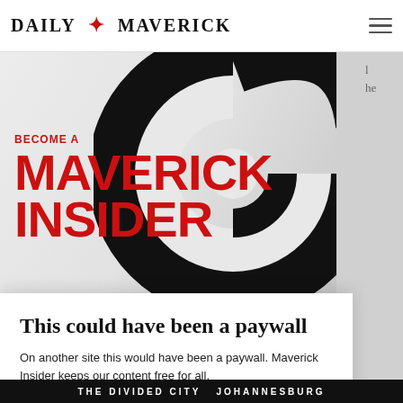DAILY MAVERICK
[Figure (illustration): Become a Maverick Insider promotional banner with red bold text on light gray background and large black swirl graphic]
This could have been a paywall
On another site this would have been a paywall. Maverick Insider keeps our content free for all.
Become an Insider
THE DIVIDED CITY JOHANNESBURG